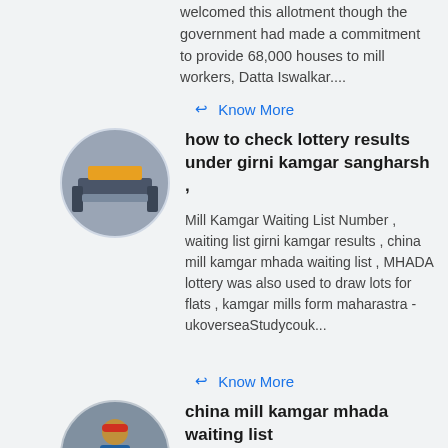welcomed this allotment though the government had made a commitment to provide 68,000 houses to mill workers, Datta Iswalkar....
Know More
[Figure (photo): An oval thumbnail image of industrial machinery in a factory setting]
how to check lottery results under girni kamgar sangharsh ,
Mill Kamgar Waiting List Number , waiting list girni kamgar results , china mill kamgar mhada waiting list , MHADA lottery was also used to draw lots for flats , kamgar mills form maharastra - ukoverseaStudycouk...
Know More
[Figure (photo): An oval thumbnail image of a person in a hard hat working at machinery]
china mill kamgar mhada waiting list
Mumbai MHADA lottery 2012 results out - Zee News- china mill kamgar mhada